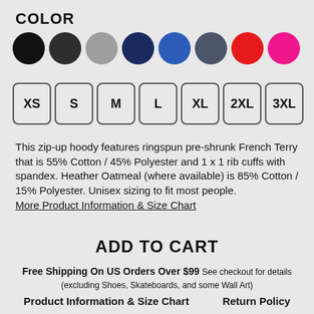COLOR
[Figure (other): Color swatches: black, dark gray, light gray, navy, blue, slate gray, red, pink/hot pink circles]
[Figure (other): Size selector boxes: XS, S, M, L, XL, 2XL, 3XL]
This zip-up hoody features ringspun pre-shrunk French Terry that is 55% Cotton / 45% Polyester and 1 x 1 rib cuffs with spandex. Heather Oatmeal (where available) is 85% Cotton / 15% Polyester. Unisex sizing to fit most people.
More Product Information & Size Chart
ADD TO CART
Free Shipping On US Orders Over $99 See checkout for details (excluding Shoes, Skateboards, and some Wall Art)
Product Information & Size Chart    Return Policy